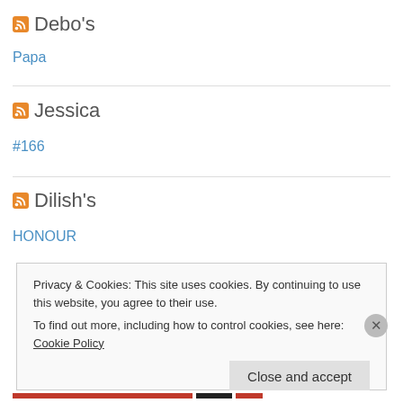Debo's
Papa
Jessica
#166
Dilish's
HONOUR
Privacy & Cookies: This site uses cookies. By continuing to use this website, you agree to their use.
To find out more, including how to control cookies, see here: Cookie Policy
Close and accept